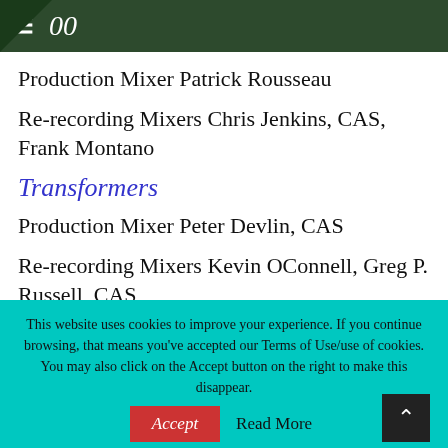00
Production Mixer Patrick Rousseau
Re-recording Mixers Chris Jenkins, CAS, Frank Montano
Transformers
Production Mixer Peter Devlin, CAS
Re-recording Mixers Kevin OConnell, Greg P. Russell, CAS
This website uses cookies to improve your experience. If you continue browsing, that means you've accepted our Terms of Use/use of cookies. You may also click on the Accept button on the right to make this disappear.